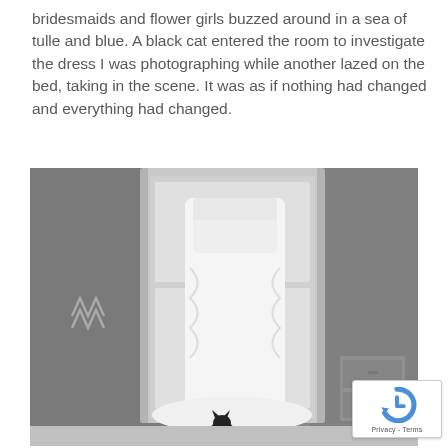bridesmaids and flower girls buzzed around in a sea of tulle and blue. A black cat entered the room to investigate the dress I was photographing while another lazed on the bed, taking in the scene. It was as if nothing had changed and everything had changed.
[Figure (photo): Black and white photograph of a white wedding dress hanging on a door frame in a room. A decorative metal wall ornament is visible on the left wall. A small dresser or nightstand is visible to the right. A black cat can be seen at the bottom of the image near the base of the dress.]